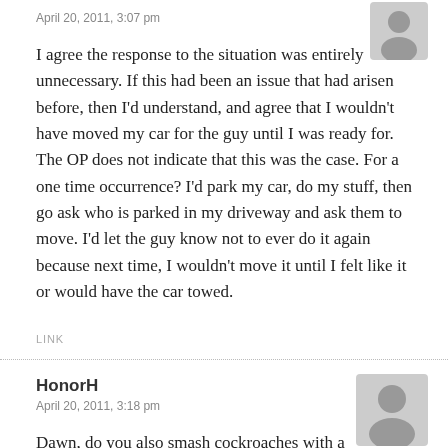April 20, 2011, 3:07 pm
I agree the response to the situation was entirely unnecessary. If this had been an issue that had arisen before, then I'd understand, and agree that I wouldn't have moved my car for the guy until I was ready for. The OP does not indicate that this was the case. For a one time occurrence? I'd park my car, do my stuff, then go ask who is parked in my driveway and ask them to move. I'd let the guy know not to ever do it again because next time, I wouldn't move it until I felt like it or would have the car towed.
LINK
HonorH
April 20, 2011, 3:18 pm
Dawn, do you also smash cockroaches with a sledgehammer? Yes, the guy was rude; yes, he technically broke the law. In this case, though, etiquette could solve the problem without bringing the law into it. The guy wasn't a